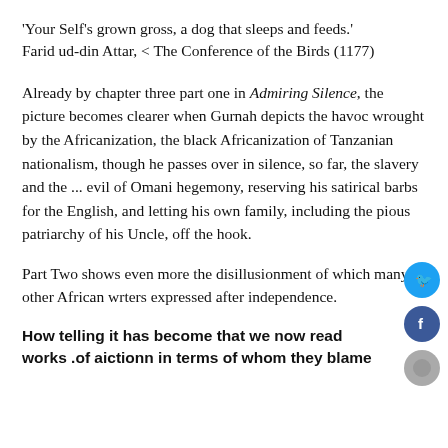'Your Self's grown gross, a dog that sleeps and feeds.' Farid ud-din Attar, < The Conference of the Birds (1177)
Already by chapter three part one in Admiring Silence, the picture becomes clearer when Gurnah depicts the havoc wrought by the Africanization, the black Africanization of Tanzanian nationalism, though he passes over in silence, so far, the slavery and the ... evil of Omani hegemony, reserving his satirical barbs for the English, and letting his own family, including the pious patriarchy of his Uncle, off the hook.
Part Two shows even more the disillusionment of which many other African wrters expressed after independence.
How telling it has become that we now read works .of aictionn in terms of whom they blame